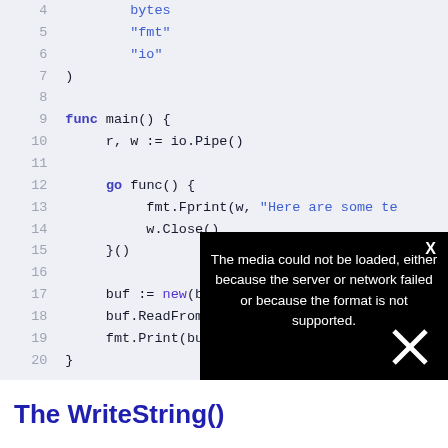[Figure (screenshot): Code editor showing Go language code snippet with line numbers 4-20. Lines show import statements for bytes, fmt, io packages, a main() function with io.Pipe(), a goroutine calling fmt.Fprint and w.Close(), and buf := new(bytes.Buffer), buf.ReadFrom(r), fmt.Print(buf). A black overlay error message covers the bottom-right: 'The media could not be loaded, either because the server or network failed or because the format is not supported.']
The WriteString()